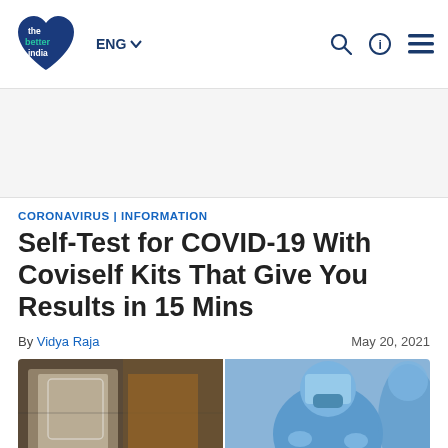The Better India — ENG navigation header with search, info, and menu icons
[Figure (other): Advertisement / whitespace area]
CORONAVIRUS | INFORMATION
Self-Test for COVID-19 With Coviself Kits That Give You Results in 15 Mins
By Vidya Raja    May 20, 2021
[Figure (photo): Two-panel photo: left shows COVID test kit in plastic bag near a door; right shows a healthcare worker in full PPE blue suit and face shield]